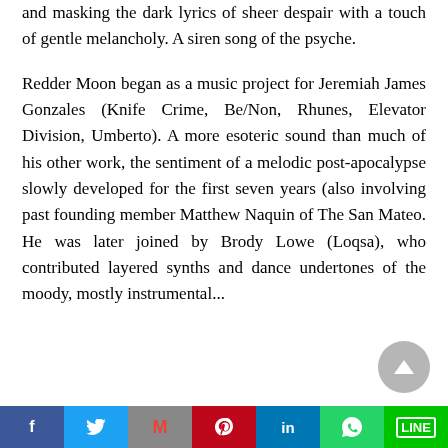and masking the dark lyrics of sheer despair with a touch of gentle melancholy. A siren song of the psyche.
Redder Moon began as a music project for Jeremiah James Gonzales (Knife Crime, Be/Non, Rhunes, Elevator Division, Umberto). A more esoteric sound than much of his other work, the sentiment of a melodic post-apocalypse slowly developed for the first seven years (also involving past founding member Matthew Naquin of The San Mateo. He was later joined by Brody Lowe (Loqsa), who contributed layered synths and dance undertones of the moody, mostly instrumental...
Facebook | Twitter | Gmail | Pinterest | LinkedIn | WhatsApp | Line